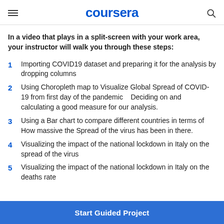coursera
In a video that plays in a split-screen with your work area, your instructor will walk you through these steps:
1 Importing COVID19 dataset and preparing it for the analysis by dropping columns
2 Using Choropleth map to Visualize Global Spread of COVID-19 from first day of the pandemic   Deciding on and calculating a good measure for our analysis.
3 Using a Bar chart to compare different countries in terms of How massive the Spread of the virus has been in there.
4 Visualizing the impact of the national lockdown in Italy on the spread of the virus
5 Visualizing the impact of the national lockdown in Italy on the deaths rate